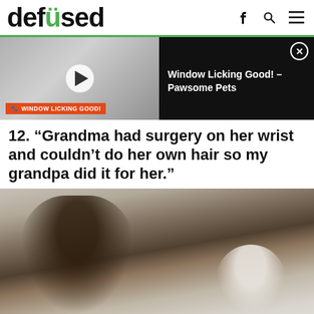defused
[Figure (screenshot): Video player thumbnail showing Window Licking Good! - Pawsome Pets advertisement with play button and orange label]
12. “Grandma had surgery on her wrist and couldn’t do her own hair so my grandpa did it for her.”
[Figure (photo): Elderly man in black shirt doing hair of elderly woman who is taking a selfie in a bathroom mirror]